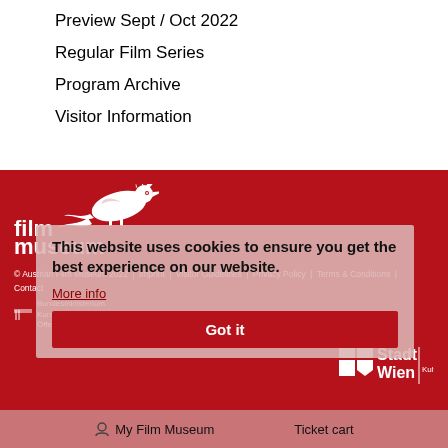Preview Sept / Oct 2022
Regular Film Series
Program Archive
Visitor Information
[Figure (logo): Filmmuseum logo with white bird illustration and text 'film museum' on red background]
© Austrian Film Museum 2022 | Imprint | Visitor Guidelines | Privacy Policy | Terms & Conditions | Contact
[Figure (logo): Bundesministerium Kunst, Kultur, Öffentlicher Dienst und Sport logo]
[Figure (logo): Stadt Wien Kultur logo]
This website uses cookies to ensure you get the best experience on our website.
More info
Got it
My Film Museum    Ticket cart